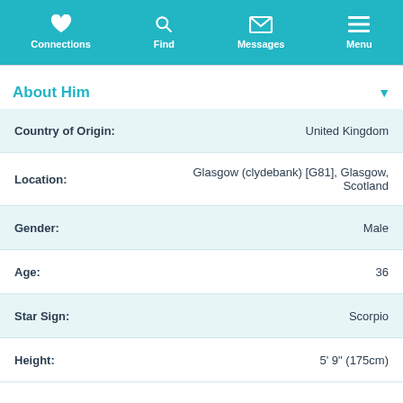Connections  Find  Messages  Menu
About Him
| Field | Value |
| --- | --- |
| Country of Origin: | United Kingdom |
| Location: | Glasgow (clydebank) [G81], Glasgow, Scotland |
| Gender: | Male |
| Age: | 36 |
| Star Sign: | Scorpio |
| Height: | 5' 9" (175cm) |